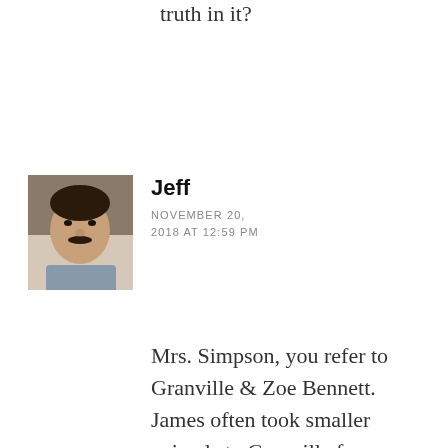truth in it?
[Figure (photo): Profile photo of a man with a mustache]
Jeff
NOVEMBER 20, 2018 AT 12:59 PM
Mrs. Simpson, you refer to Granville & Zoe Bennett. James often took smaller animals to Granville for complex surgery, as his operating theater was state of the art, and seems to me Granville Bennett only ran a ‘small’ animal practice. I